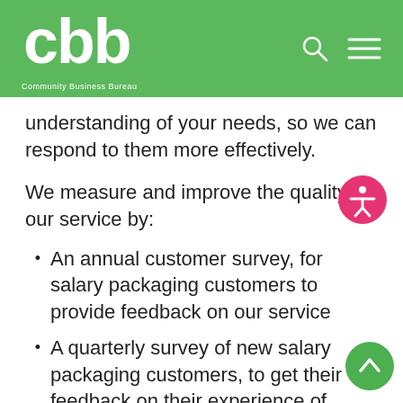[Figure (logo): CBB Community Business Bureau logo and navigation header on green background]
understanding of your needs, so we can respond to them more effectively.
We measure and improve the quality of our service by:
An annual customer survey, for salary packaging customers to provide feedback on our service
A quarterly survey of new salary packaging customers, to get their feedback on their experience of setting up their salary packaging